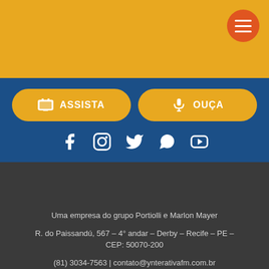[Figure (other): Golden top banner with hamburger menu button (orange circle with three white lines) in top right corner]
[Figure (other): Two yellow rounded buttons: ASSISTA (with TV icon) and OUÇA (with microphone icon), on blue background]
[Figure (other): Row of white social media icons on blue background: Facebook, Instagram, Twitter/X, WhatsApp, YouTube]
Uma empresa do grupo Portiolli e Marlon Mayer
R. do Paissandú, 567 – 4° andar – Derby – Recife – PE – CEP: 50070-200
(81) 3034-7563 | contato@ynterativafm.com.br
Ynterativafm views | Ynterativafm study | Ynterativafm en | Ynterativafm dump | Ynterativafm questions | sitemap